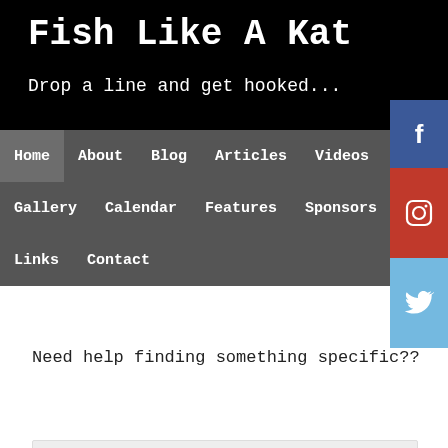Fish Like A Kat
Drop a line and get hooked...
Home  About  Blog  Articles  Videos
Gallery  Calendar  Features  Sponsors
Links  Contact
Need help finding something specific??
[Figure (screenshot): Google custom search box with 'ENHANCED BY Google' label and blue search button with magnifying glass icon]